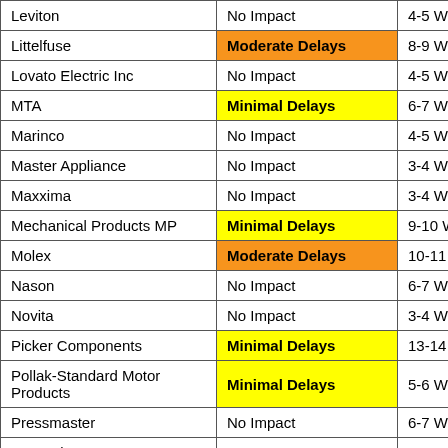| Leviton | No Impact | 4-5 Weeks |
| Littelfuse | Moderate Delays | 8-9 Weeks |
| Lovato Electric Inc | No Impact | 4-5 Weeks |
| MTA | Minimal Delays | 6-7 Weeks |
| Marinco | No Impact | 4-5 Weeks |
| Master Appliance | No Impact | 3-4 Weeks |
| Maxxima | No Impact | 3-4 Weeks |
| Mechanical Products MP | Minimal Delays | 9-10 Weeks |
| Molex | Moderate Delays | 10-11 Weeks |
| Nason | No Impact | 6-7 Weeks |
| Novita | No Impact | 3-4 Weeks |
| Picker Components | Minimal Delays | 13-14 Weeks |
| Pollak-Standard Motor Products | Minimal Delays | 5-6 Weeks |
| Pressmaster | No Impact | 6-7 Weeks |
| ProMariner | No Impact | 4-5 Weeks |